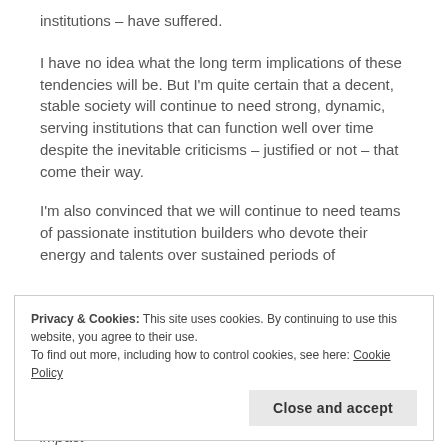institutions – have suffered.
I have no idea what the long term implications of these tendencies will be. But I'm quite certain that a decent, stable society will continue to need strong, dynamic, serving institutions that can function well over time despite the inevitable criticisms – justified or not – that come their way.
I'm also convinced that we will continue to need teams of passionate institution builders who devote their energy and talents over sustained periods of time to build great institutions. Good will
Privacy & Cookies: This site uses cookies. By continuing to use this website, you agree to their use.
To find out more, including how to control cookies, see here: Cookie Policy
Close and accept
impact